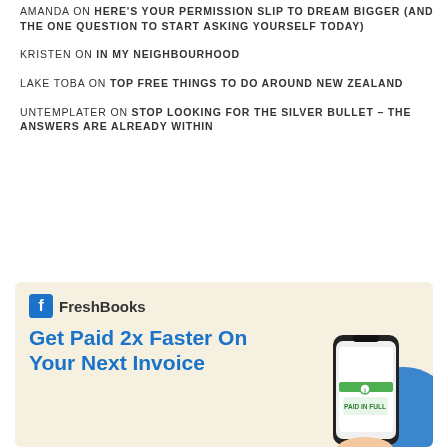AMANDA ON HERE'S YOUR PERMISSION SLIP TO DREAM BIGGER (AND THE ONE QUESTION TO START ASKING YOURSELF TODAY)
KRISTEN ON IN MY NEIGHBOURHOOD
LAKE TOBA ON TOP FREE THINGS TO DO AROUND NEW ZEALAND
UNTEMPLATER ON STOP LOOKING FOR THE SILVER BULLET – THE ANSWERS ARE ALREADY WITHIN
[Figure (infographic): FreshBooks advertisement with logo, headline 'Get Paid 2x Faster On Your Next Invoice', and phone mockup showing PAID IN FULL screen]